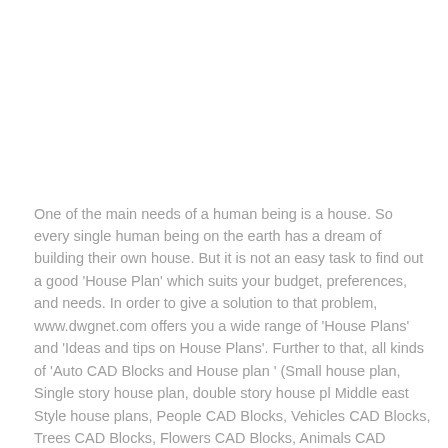One of the main needs of a human being is a house. So every single human being on the earth has a dream of building their own house. But it is not an easy task to find out a good 'House Plan' which suits your budget, preferences, and needs. In order to give a solution to that problem, www.dwgnet.com offers you a wide range of 'House Plans' and 'Ideas and tips on House Plans'. Further to that, all kinds of 'Auto CAD Blocks and House plan ' (Small house plan, Single story house plan, double story house pl Middle east Style house plans, People CAD Blocks, Vehicles CAD Blocks, Trees CAD Blocks, Flowers CAD Blocks, Animals CAD Blocks, Grass CAD Blocks, Play Grounds, and Icon CAD Blocks) are also available in www.dwgnet.com. Therefore we will be helpful for the Architects as well. All the Auto CAD files on this website have been edited and saved in Auto CAD Version 2004, so these files can be